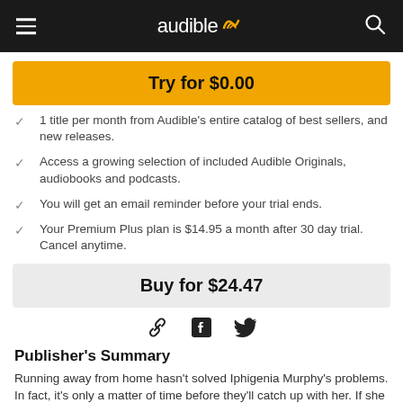audible
Try for $0.00
1 title per month from Audible's entire catalog of best sellers, and new releases.
Access a growing selection of included Audible Originals, audiobooks and podcasts.
You will get an email reminder before your trial ends.
Your Premium Plus plan is $14.95 a month after 30 day trial. Cancel anytime.
Buy for $24.47
[Figure (infographic): Share icons: link, Facebook, Twitter]
Publisher's Summary
Running away from home hasn't solved Iphigenia Murphy's problems. In fact, it's only a matter of time before they'll catch up with her. If she doesn't find her way home, they're the only ones left to